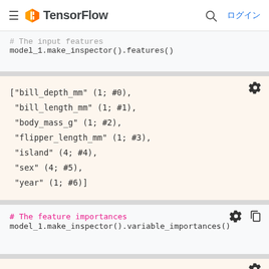TensorFlow ログイン
# The input features
model_1.make_inspector().features()
["bill_depth_mm" (1; #0),
 "bill_length_mm" (1; #1),
 "body_mass_g" (1; #2),
 "flipper_length_mm" (1; #3),
 "island" (4; #4),
 "sex" (4; #5),
 "year" (1; #6)]
# The feature importances
model_1.make_inspector().variable_importances()